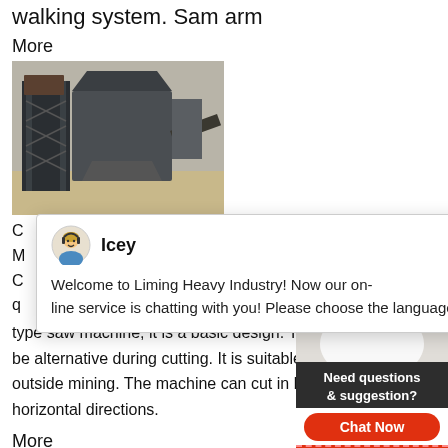walking system. Sam arm
More
[Figure (photo): Aerial view of a large industrial crusher or mining equipment installation, dark metal structure on scaffolding]
C
M
C
q
type saw machine, it is a basic design. Th be alternative during cutting. It is suitable outside mining. The machine can cut in b horizontal directions.
More
[Figure (photo): Outdoor mining or quarry site with heavy equipment, mountains in background]
[Figure (screenshot): Live chat popup from Liming Heavy Industry website. Agent named Icey with avatar. Message: Welcome to Liming Heavy Industry! Now our on-line service is chatting with you! Please choose the language.]
[Figure (photo): Customer support agent photo (woman with headset smiling), with notification badge showing 1, and Need questions & suggestion? Chat Now panel, and Enquire button]